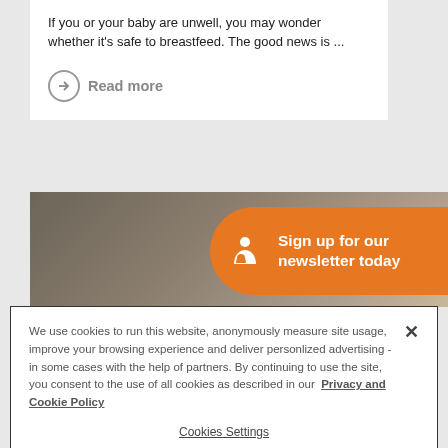If you or your baby are unwell, you may wonder whether it's safe to breastfeed. The good news is ...
→ Read more
[Figure (photo): Background photo of a baby/mother scene with an orange banner overlay reading 'Sign up for our newsletter today' with a mother-and-child icon]
We use cookies to run this website, anonymously measure site usage, improve your browsing experience and deliver personlized advertising - in some cases with the help of partners. By continuing to use the site, you consent to the use of all cookies as described in our Privacy and Cookie Policy
Cookies Settings